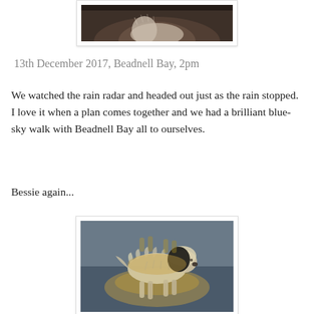[Figure (photo): Partial photo of a dog visible at the top of the page, cropped, showing mostly the top portion of the animal against a dark background.]
13th December 2017, Beadnell Bay, 2pm
We watched the rain radar and headed out just as the rain stopped.  I love it when a plan comes together and we had a brilliant blue-sky walk with Beadnell Bay all to ourselves.
Bessie again...
[Figure (photo): Photo of a wet, shaggy light-colored dog (Bessie) walking on a wet beach with her reflection visible in the water below.]